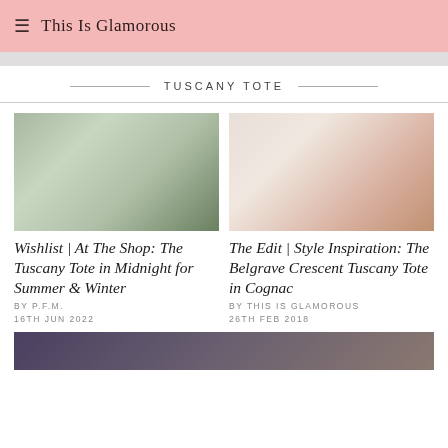≡ This Is Glamorous
TUSCANY TOTE
[Figure (photo): Woman carrying a dark grey tote bag outdoors near flowering bushes]
Wishlist | At The Shop: The Tuscany Tote in Midnight for Summer & Winter
BY P.F.M.
16TH JUN 2022
[Figure (photo): Brown leather Tuscany tote bag on a vintage white dresser with pink fabric drapes]
The Edit | Style Inspiration: The Belgrave Crescent Tuscany Tote in Cognac
BY THIS IS GLAMOROUS
26TH FEB 2018
[Figure (photo): Partial view of another blog post image at the bottom of the page]